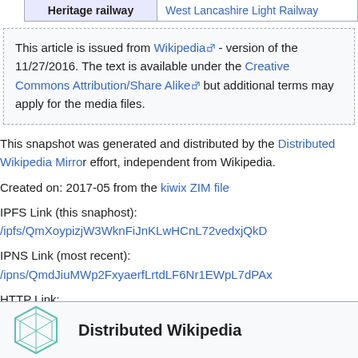| Heritage railway | West Lancashire Light Railway |
| --- | --- |
This article is issued from Wikipedia - version of the 11/27/2016. The text is available under the Creative Commons Attribution/Share Alike but additional terms may apply for the media files.
This snapshot was generated and distributed by the Distributed Wikipedia Mirror effort, independent from Wikipedia.
Created on: 2017-05 from the kiwix ZIM file
IPFS Link (this snaphost): /ipfs/QmXoypizjW3WknFiJnKLwHCnL72vedxjQkD
IPNS Link (most recent): /ipns/QmdJiuMWp2FxyaerfLrtdLF6Nr1EWpL7dPAx
HTTP Link: https://gateway.ipfs.io/ipfs/QmXoypizjW3WknFiJnKLwHCnL72ve
Download IPFS Here
Distributed Wikipedia